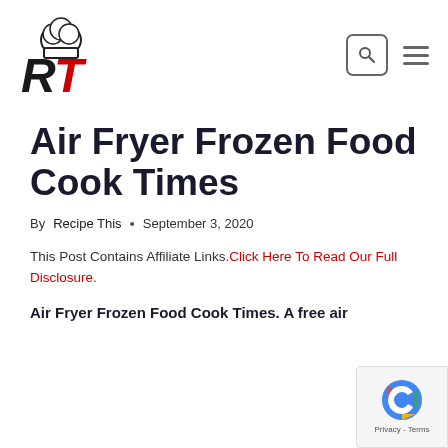[Figure (logo): RT Recipe This logo with chef hat and stylized RT letters in black and red]
Air Fryer Frozen Food Cook Times
By Recipe This • September 3, 2020
This Post Contains Affiliate Links. Click Here To Read Our Full Disclosure.
Air Fryer Frozen Food Cook Times. A free air